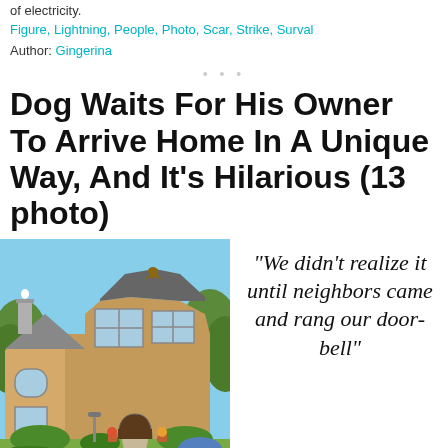of electricity.
Figure, Lightning, People, Photo, Scar, Strike, Surval
Author: Gingerina
Dog Waits For His Owner To Arrive Home In A Unique Way, And It’s Hilarious (13 photo)
[Figure (photo): Photo of a two-story suburban house with tan/beige stucco exterior, gray roof, large windows, and a small dog visible on the rooftop peak. Blue sky and trees in background.]
“We didn’t realize it until neighbors came and rang our door-bell”